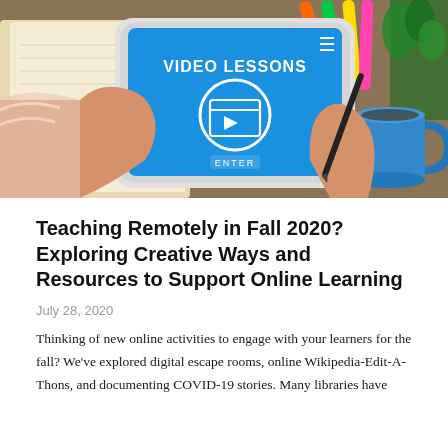[Figure (photo): A person holding a tablet device displaying a blue screen with 'VIDEO LESSONS' text and a play button icon, with an ENTER button. The background shows colorful markers, a plant, and a blue coffee mug on a desk.]
Teaching Remotely in Fall 2020? Exploring Creative Ways and Resources to Support Online Learning
July 28, 2020
Thinking of new online activities to engage with your learners for the fall? We've explored digital escape rooms, online Wikipedia-Edit-A-Thons, and documenting COVID-19 stories. Many libraries have